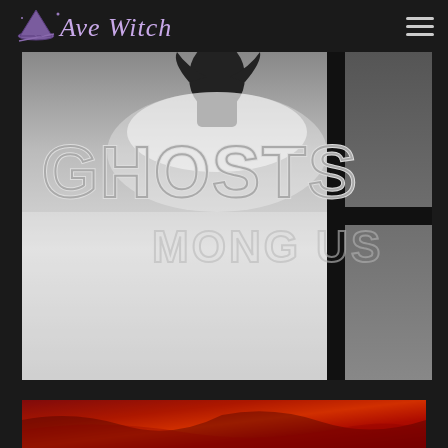Ave Witch
[Figure (photo): Black and white photograph showing text 'GHOSTS AMONG US' on a frosted window with a dark silhouette of a figure visible behind it. The image is divided by dark window frame elements.]
[Figure (photo): Red-tinted atmospheric photograph, partially visible at bottom of page, showing a dark reddish textured surface.]